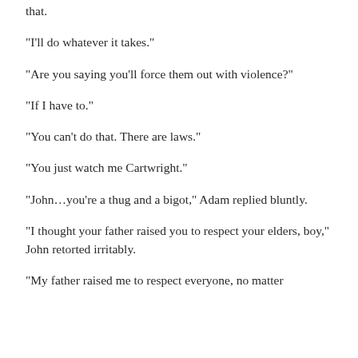that.
“I’ll do whatever it takes.”
“Are you saying you’ll force them out with violence?”
“If I have to.”
“You can’t do that. There are laws.”
“You just watch me Cartwright.”
“John…you’re a thug and a bigot,” Adam replied bluntly.
“I thought your father raised you to respect your elders, boy,” John retorted irritably.
“My father raised me to respect everyone, no matter